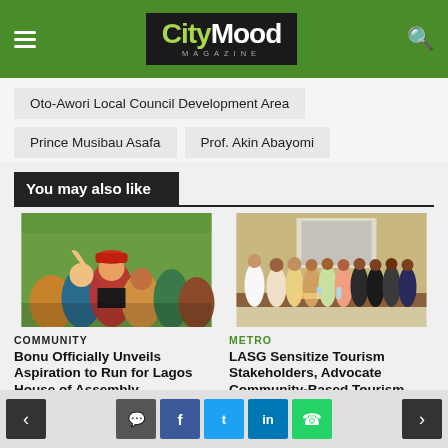CityMood Magazine
Oto-Awori Local Council Development Area
Prince Musibau Asafa
Prof. Akin Abayomi
You may also like
[Figure (photo): Group of young people celebrating outdoors, crowd photo]
COMMUNITY
Bonu Officially Unveils Aspiration to Run for Lagos House of Assembly
6 months ago
[Figure (photo): Group photo of people at an indoor conference/meeting event]
METRO
LASG Sensitize Tourism Stakeholders, Advocate Community-Based Tourism
< navigation | comment | facebook | twitter | linkedin | whatsapp | >